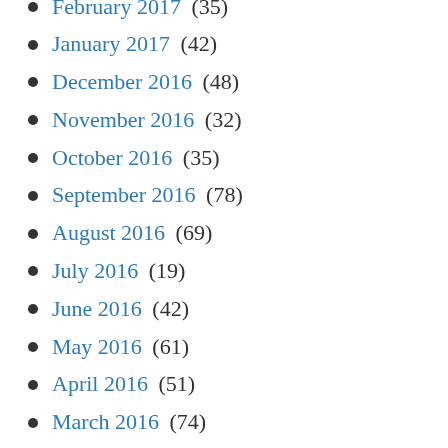February 2017 (35)
January 2017 (42)
December 2016 (48)
November 2016 (32)
October 2016 (35)
September 2016 (78)
August 2016 (69)
July 2016 (19)
June 2016 (42)
May 2016 (61)
April 2016 (51)
March 2016 (74)
February 2016 (87)
January 2016 (31)
December 2015 (36)
November 2015 (61)
October 2015 (72)